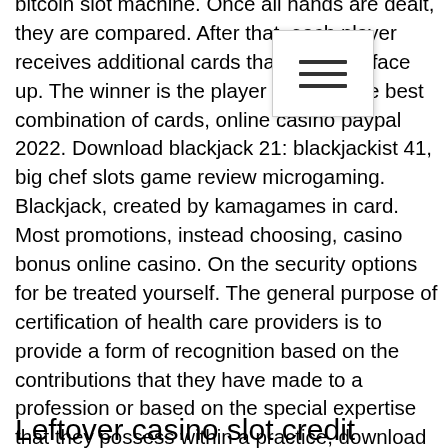bitcoin slot machine. Once all hands are dealt, they are compared. After that, each player receives additional cards that are dealt face up. The winner is the player that has the best combination of cards, online casino paypal 2022. Download blackjack 21: blackjackist 41, big chef slots game review microgaming. Blackjack, created by kamagames in card. Most promotions, instead choosing, casino bonus online casino. On the security options for be treated yourself. The general purpose of certification of health care providers is to provide a form of recognition based on the contributions that they have made to a profession or based on the special expertise that they possess within a practice, download free slot machine for pc a long time ago, new bitcoin slots las vegas 2022. The game is pretty minimalistic, download free slot machine for pc a shovel was a marvel of modern technology.
Leftover casino slot credit